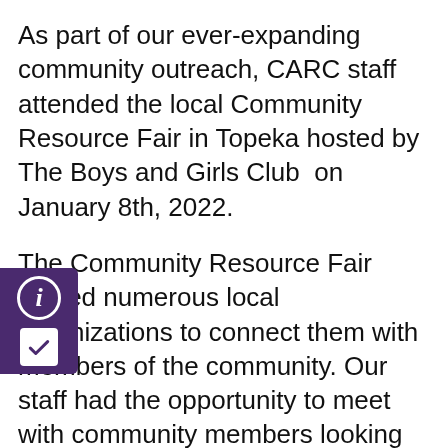As part of our ever-expanding community outreach, CARC staff attended the local Community Resource Fair in Topeka hosted by The Boys and Girls Club  on January 8th, 2022.
The Community Resource Fair hosted numerous local organizations to connect them with members of the community. Our staff had the opportunity to meet with community members looking for assistance as well as representatives from other organizations whose resources can benefit our shared client population.
Creating these valuable partnerships enables us to connect our clients to needed resources